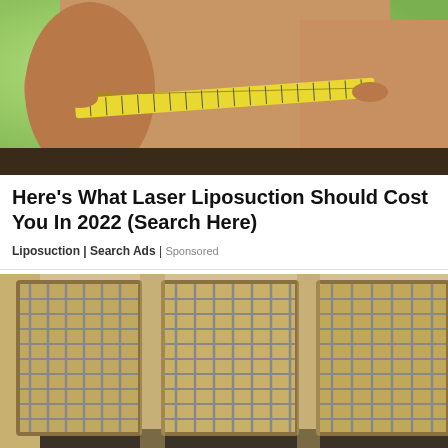[Figure (photo): Person measuring their waist with a yellow tape measure, green blurred background]
Here's What Laser Liposuction Should Cost You In 2022 (Search Here)
Liposuction | Search Ads | Sponsored
[Figure (photo): Interior of a prison showing metal cell bars with tan/gold coloring]